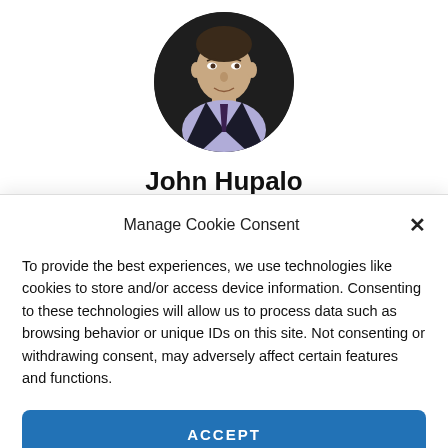[Figure (photo): Circular cropped professional headshot of a man in a suit with a light purple shirt and tie, dark background.]
John Hupalo
Manage Cookie Consent
To provide the best experiences, we use technologies like cookies to store and/or access device information. Consenting to these technologies will allow us to process data such as browsing behavior or unique IDs on this site. Not consenting or withdrawing consent, may adversely affect certain features and functions.
ACCEPT
Privacy  {title}